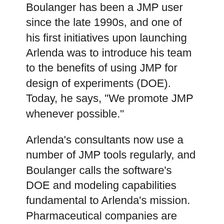Boulanger has been a JMP user since the late 1990s, and one of his first initiatives upon launching Arlenda was to introduce his team to the benefits of using JMP for design of experiments (DOE). Today, he says, "We promote JMP whenever possible."
Arlenda's consultants now use a number of JMP tools regularly, and Boulanger calls the software's DOE and modeling capabilities fundamental to Arlenda's mission. Pharmaceutical companies are committed to investigating ways to conduct more reliable experiments, and Arlenda uses JMP to do that. It's all in keeping with what they refer to as a "lifecycle vision" of an experiment: Define your objective, determine your analytical approach, design your experiment, perform your experiment, gather your results, assert your conclusion.
"Research is a cycle," Boulanger says, "and you need to encapsulate everything." DOE brings order to that cycle.